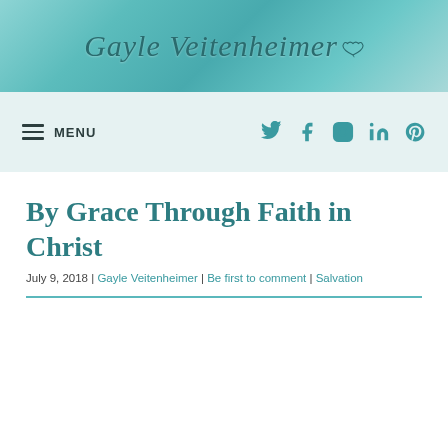Gayle Veitenheimer
MENU | Twitter | Facebook | Instagram | LinkedIn | Pinterest
By Grace Through Faith in Christ
July 9, 2018 | Gayle Veitenheimer | Be first to comment | Salvation